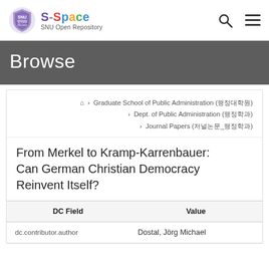S-Space SNU Open Repository
Browse
Graduate School of Public Administration (행정대학원) > Dept. of Public Administration (행정학과) > Journal Papers (저널논문_행정학과)
From Merkel to Kramp-Karrenbauer: Can German Christian Democracy Reinvent Itself?
| DC Field | Value |
| --- | --- |
| dc.contributor.author | Dostal, Jörg Michael |